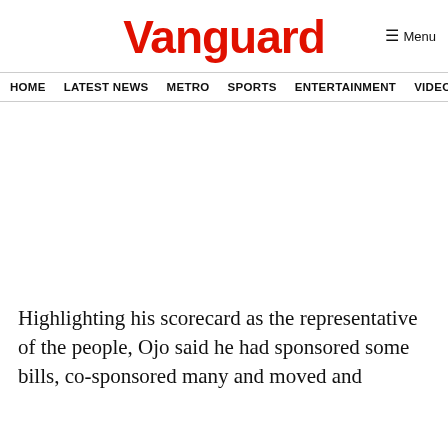Vanguard
HOME  LATEST NEWS  METRO  SPORTS  ENTERTAINMENT  VIDEOS
Highlighting his scorecard as the representative of the people, Ojo said he had sponsored some bills, co-sponsored many and moved and